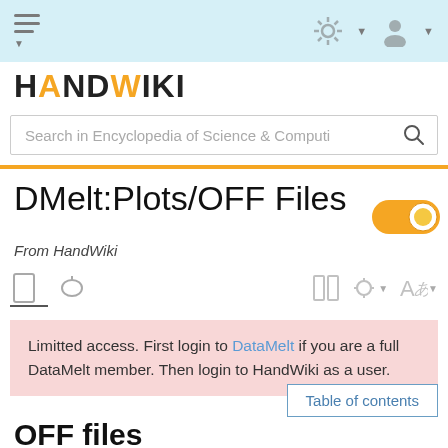HandWiki navigation bar with hamburger menu, gear icon, and user icon
HANDWIKI
Search in Encyclopedia of Science & Computi
DMelt:Plots/OFF Files
From HandWiki
Limitted access. First login to DataMelt if you are a full DataMelt member. Then login to HandWiki as a user.
Table of contents
OFF files